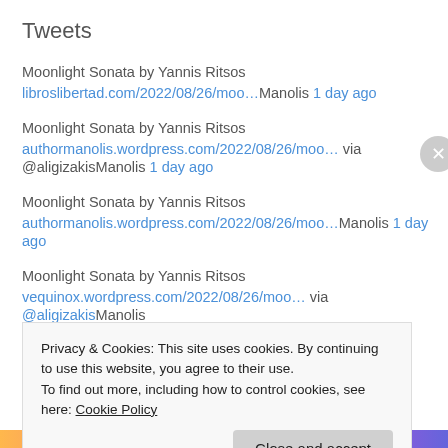Tweets
Moonlight Sonata by Yannis Ritsos
libroslibertad.com/2022/08/26/moo…Manolis 1 day ago
Moonlight Sonata by Yannis Ritsos
authormanolis.wordpress.com/2022/08/26/moo… via @aligizakisManolis 1 day ago
Moonlight Sonata by Yannis Ritsos
authormanolis.wordpress.com/2022/08/26/moo…Manolis 1 day ago
Moonlight Sonata by Yannis Ritsos
vequinox.wordpress.com/2022/08/26/moo… via @aligizakisManolis
Privacy & Cookies: This site uses cookies. By continuing to use this website, you agree to their use.
To find out more, including how to control cookies, see here: Cookie Policy
Close and accept